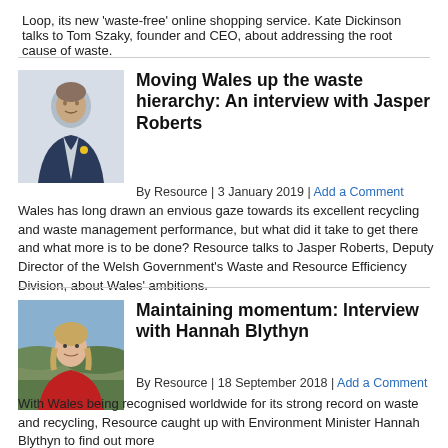Loop, its new 'waste-free' online shopping service. Kate Dickinson talks to Tom Szaky, founder and CEO, about addressing the root cause of waste.
Moving Wales up the waste hierarchy: An interview with Jasper Roberts
By Resource | 3 January 2019 | Add a Comment
Wales has long drawn an envious gaze towards its excellent recycling and waste management performance, but what did it take to get there and what more is to be done? Resource talks to Jasper Roberts, Deputy Director of the Welsh Government's Waste and Resource Efficiency Division, about Wales' ambitions.
Maintaining momentum: Interview with Hannah Blythyn
By Resource | 18 September 2018 | Add a Comment
With Wales being recognised worldwide for its strong record on waste and recycling, Resource caught up with Environment Minister Hannah Blythyn to find out more